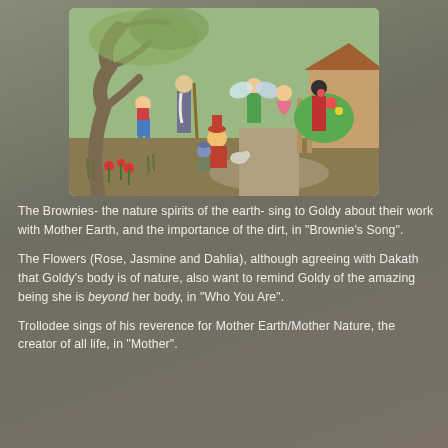[Figure (illustration): A colorful illustrated scene showing fantasy characters including Brownies (nature spirits), flowers personified as figures (Rose, Jasmine, Dahlia), a troll-like character, fairies, and a young girl named Goldy, all gathered in a magical garden setting with a large twisted tree.]
The Brownies- the nature spirits of the earth- sing to Goldy about their work with Mother Earth, and the importance of the dirt, in “Brownie’s Song”.
The Flowers (Rose, Jasmine and Dahlia), although agreeing with Dakath that Goldy’s body is of nature, also want to remind Goldy of the amazing being she is beyond her body, in “Who You Are”.
Trollodee sings of his reverence for Mother Earth/Mother Nature, the creator of all life, in “Mother”.